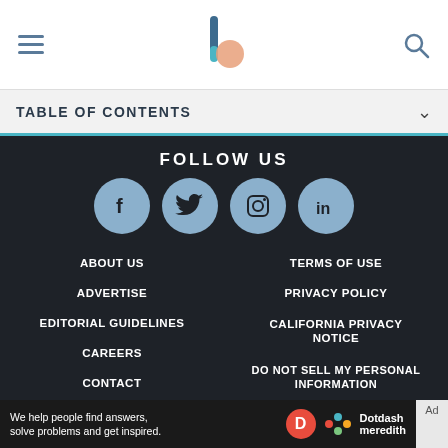TABLE OF CONTENTS
FOLLOW US
[Figure (illustration): Four social media icons in light blue circles: Facebook, Twitter, Instagram, LinkedIn]
ABOUT US
TERMS OF USE
ADVERTISE
PRIVACY POLICY
EDITORIAL GUIDELINES
CALIFORNIA PRIVACY NOTICE
CAREERS
DO NOT SELL MY PERSONAL INFORMATION
CONTACT
COOKIE POLICY
We help people find answers, solve problems and get inspired. Dotdash meredith